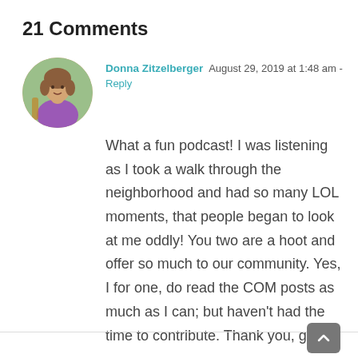21 Comments
[Figure (photo): Circular avatar photo of a woman with brown hair wearing a purple top, holding a guitar, with green foliage background.]
Donna Zitzelberger  August 29, 2019 at 1:48 am -
Reply
What a fun podcast! I was listening as I took a walk through the neighborhood and had so many LOL moments, that people began to look at me oddly! You two are a hoot and offer so much to our community. Yes, I for one, do read the COM posts as much as I can; but haven't had the time to contribute. Thank you, guys!